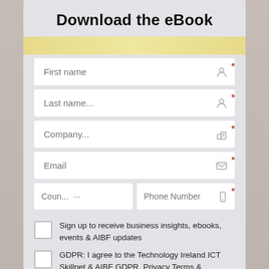Download the eBook
[Figure (screenshot): Web form with fields: First name, Last name, Company, Email, Country (Coun...), Phone Number, and two checkboxes for sign-up and GDPR agreement]
First name
Last name...
Company...
Email
Coun... ...
Phone Number
Sign up to receive business insights, ebooks, events & AIBF updates
GDPR: I agree to the Technology Ireland ICT Skillnet & AIBF GDPR, Privacy Terms & Conditions